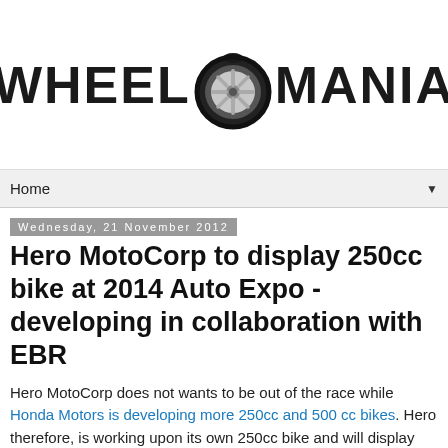[Figure (logo): Wheel Mania logo with large bold text WHEEL and MANIA separated by a tire graphic]
Home ▼
Wednesday, 21 November 2012
Hero MotoCorp to display 250cc bike at 2014 Auto Expo - developing in collaboration with EBR
Hero MotoCorp does not wants to be out of the race while Honda Motors is developing more 250cc and 500 cc bikes. Hero therefore, is working upon its own 250cc bike and will display the same at upcoming 2014 Auto Expo.